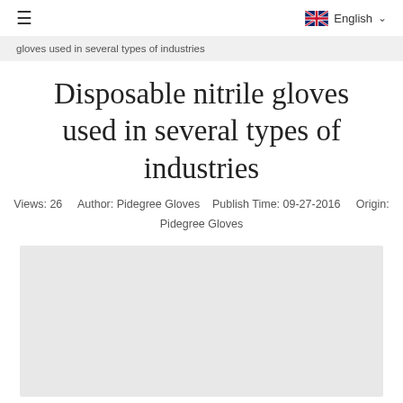≡   English ∨
gloves used in several types of industries
Disposable nitrile gloves used in several types of industries
Views: 26   Author: Pidegree Gloves   Publish Time: 09-27-2016   Origin: Pidegree Gloves
[Figure (photo): Light gray rectangular image placeholder area]